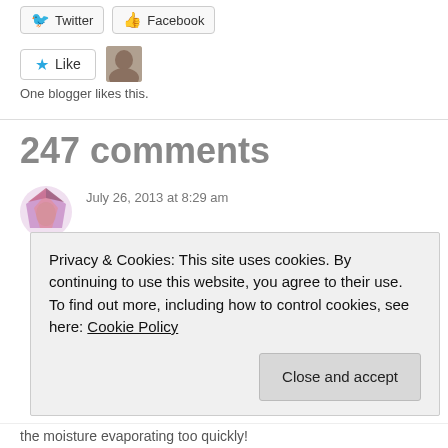[Figure (other): Twitter and Facebook share buttons at top]
[Figure (other): Like button with star icon and blogger avatar photo]
One blogger likes this.
247 comments
July 26, 2013 at 8:29 am
Privacy & Cookies: This site uses cookies. By continuing to use this website, you agree to their use.
To find out more, including how to control cookies, see here: Cookie Policy
Close and accept
the moisture evaporating too quickly!